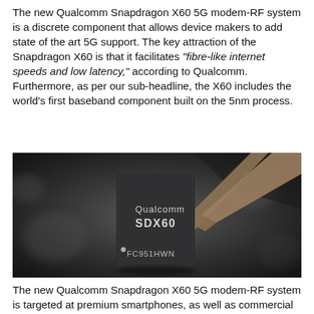The new Qualcomm Snapdragon X60 5G modem-RF system is a discrete component that allows device makers to add state of the art 5G support. The key attraction of the Snapdragon X60 is that it facilitates "fibre-like internet speeds and low latency," according to Qualcomm. Furthermore, as per our sub-headline, the X60 includes the world's first baseband component built on the 5nm process.
[Figure (photo): Close-up photo of a Qualcomm SDX60 chip (labelled 'Qualcomm SDX60' and 'FC951HWN') being held by metal tweezers against a dark blurred background.]
The new Qualcomm Snapdragon X60 5G modem-RF system is targeted at premium smartphones, as well as commercial and industrial devices which would benefit from